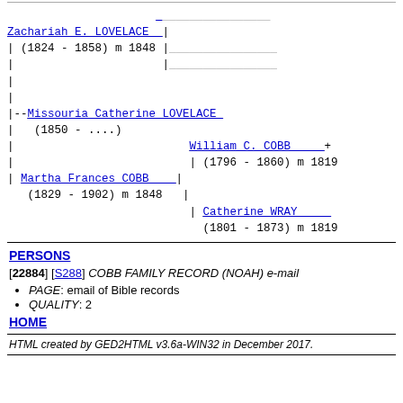[Figure (other): Genealogy pedigree chart showing family tree with Zachariah E. LOVELACE (1824-1858) m 1848, Missouria Catherine LOVELACE (1850-....), Martha Frances COBB (1829-1902) m 1848, William C. COBB + (1796-1860) m 1819, Catherine WRAY (1801-1873) m 1819]
PERSONS
[22884] [S288] COBB FAMILY RECORD (NOAH) e-mail
PAGE: email of Bible records
QUALITY: 2
HOME
HTML created by GED2HTML v3.6a-WIN32 in December 2017.